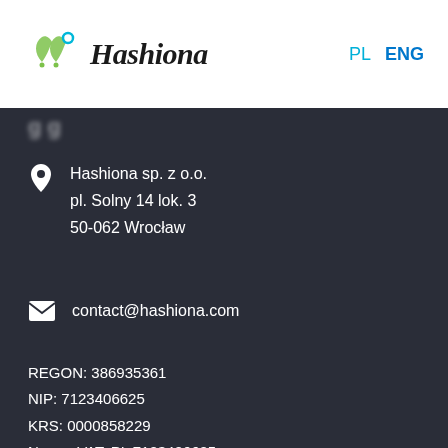Hashiona  PL  ENG
Hashiona sp. z o.o.
pl. Solny 14 lok. 3
50-062 Wrocław
contact@hashiona.com
REGON: 386935361
NIP: 7123406625
KRS: 0000858229
Numer VAT: PL 7123406625